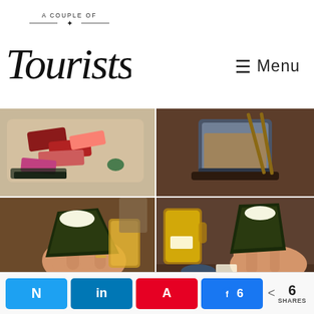[Figure (logo): A Couple of Tourists blog logo — handwritten script 'Tourists' with 'A COUPLE OF' text above and a compass/cross ornament]
≡ Menu
[Figure (photo): Sashimi platter on a wooden board with slices of tuna, salmon and wasabi]
[Figure (photo): Miso soup in a ceramic cup with chopsticks on a wooden table]
[Figure (photo): Hand holding a temaki sushi roll wrapped in nori, beer glass in background]
[Figure (photo): Hand holding a temaki sushi roll, beer mugs visible on table]
[Figure (photo): Partial view of sushi restaurant table with dishes and chopsticks]
[Figure (photo): Partial view of sushi restaurant table with dishes]
N
in
A
6
< 6 SHARES